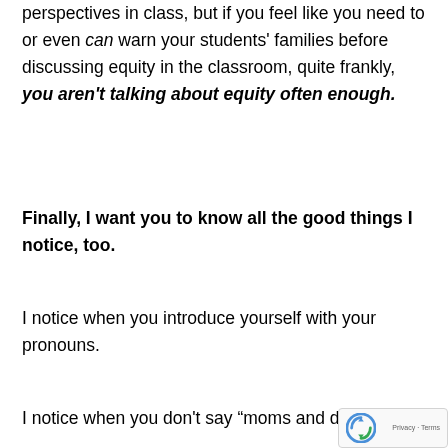perspectives in class, but if you feel like you need to or even can warn your students' families before discussing equity in the classroom, quite frankly, you aren't talking about equity often enough.
Finally, I want you to know all the good things I notice, too.
I notice when you introduce yourself with your pronouns.
I notice when you don't say “moms and dads” to